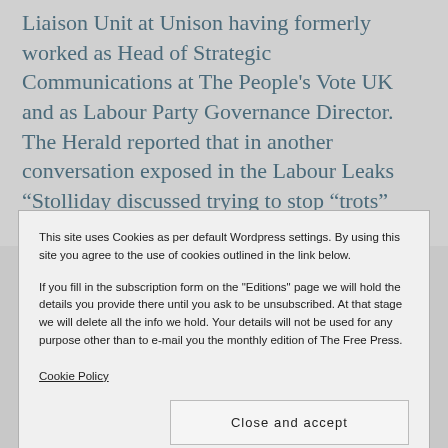Liaison Unit at Unison having formerly worked as Head of Strategic Communications at The People's Vote UK and as Labour Party Governance Director. The Herald reported that in another conversation exposed in the Labour Leaks “Stolliday discussed trying to stop “trots” from being selected as Labour’s
This site uses Cookies as per default Wordpress settings. By using this site you agree to the use of cookies outlined in the link below.
If you fill in the subscription form on the "Editions" page we will hold the details you provide there until you ask to be unsubscribed. At that stage we will delete all the info we hold. Your details will not be used for any purpose other than to e-mail you the monthly edition of The Free Press.
Cookie Policy
Close and accept